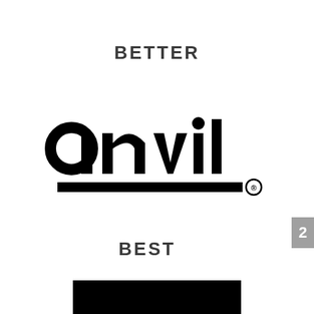BETTER
[Figure (logo): Anvil brand logo in black — lowercase 'anvil' text in bold rounded sans-serif font with a thick horizontal black bar beneath and a registered trademark symbol]
2
BEST
[Figure (other): Black rectangle partially visible at the bottom of the page, representing the 'BEST' tier logo or image]